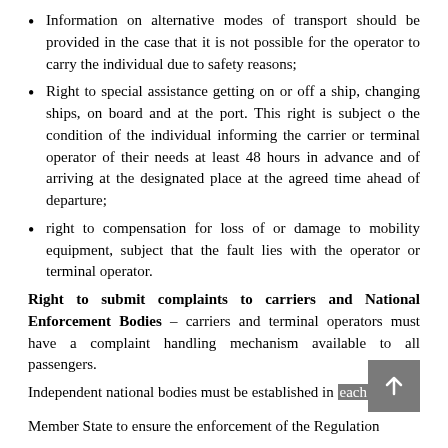Information on alternative modes of transport should be provided in the case that it is not possible for the operator to carry the individual due to safety reasons;
Right to special assistance getting on or off a ship, changing ships, on board and at the port. This right is subject o the condition of the individual informing the carrier or terminal operator of their needs at least 48 hours in advance and of arriving at the designated place at the agreed time ahead of departure;
right to compensation for loss of or damage to mobility equipment, subject that the fault lies with the operator or terminal operator.
Right to submit complaints to carriers and National Enforcement Bodies – carriers and terminal operators must have a complaint handling mechanism available to all passengers.
Independent national bodies must be established in each Member State to ensure the enforcement of the Regulation